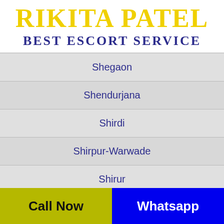RIKITA PATEL BEST ESCORT SERVICE
Shegaon
Shendurjana
Shirdi
Shirpur-Warwade
Shirur
Shrigonda
Call Now   Whatsapp